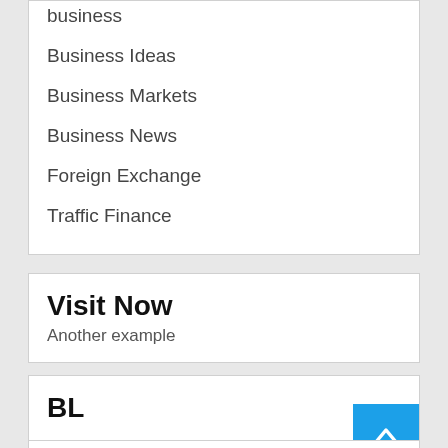business
Business Ideas
Business Markets
Business News
Foreign Exchange
Traffic Finance
Visit Now
Another example
BL